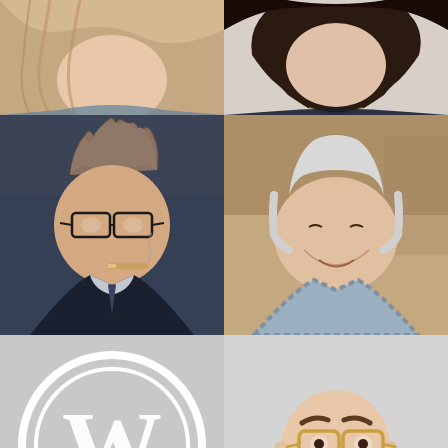[Figure (photo): Portrait photo of a woman with long blonde/light brown hair, partial view, top of page left column]
[Figure (photo): Portrait photo of a woman with dark hair wearing a dark top, top of page right column]
[Figure (photo): Photo of a man with spiked hair, glasses, and a cigar, wearing a suit, middle left column]
[Figure (photo): Portrait photo of an older man with white/gray hair, smiling, wearing a checkered shirt, middle right column]
[Figure (logo): WordPress logo (W in a circle) on a gray background, bottom left column]
[Figure (illustration): Animated/3D avatar of a bald man with glasses wearing a black top, arms crossed, bottom right column]